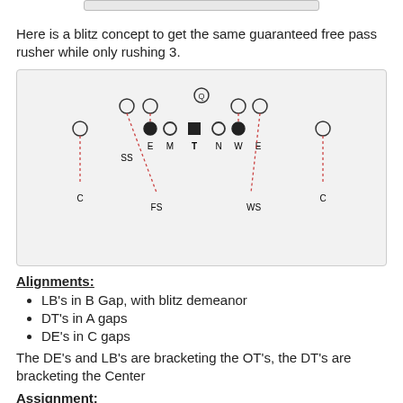Here is a blitz concept to get the same guaranteed free pass rusher while only rushing 3.
[Figure (schematic): Football defensive formation diagram showing players labeled C, SS, FS, E, M, T, N, W, E, WS, C with dashed red arrows indicating movement paths. QB (Q) is at the top center. Offensive line has filled and open circles. Defensive players are positioned with dashed lines showing blitz paths.]
Alignments:
LB's in B Gap, with blitz demeanor
DT's in A gaps
DE's in C gaps
The DE's and LB's are bracketing the OT's, the DT's are bracketing the Center
Assignment: